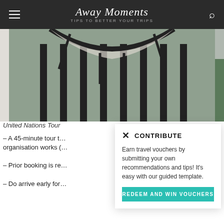Away Moments — TIPS TO BETTER YOUR TRIPS
[Figure (photo): Iron gate or fence with vertical black bars and decorative arch, with green hedge visible behind it.]
United Nations Tour
– A 45-minute tour t… organisation works (…
– Prior booking is re…
– Do arrive early for…
CONTRIBUTE — Earn travel vouchers by submitting your own recommendations and tips! It's easy with our guided template. REDEEM AND WIN VOUCHERS